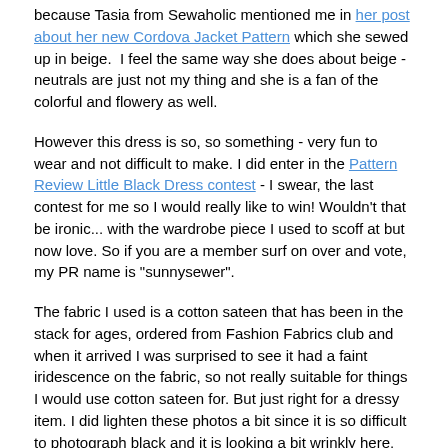because Tasia from Sewaholic mentioned me in her post about her new Cordova Jacket Pattern which she sewed up in beige.  I feel the same way she does about beige - neutrals are just not my thing and she is a fan of the colorful and flowery as well.
However this dress is so, so something - very fun to wear and not difficult to make. I did enter in the Pattern Review Little Black Dress contest - I swear, the last contest for me so I would really like to win! Wouldn't that be ironic... with the wardrobe piece I used to scoff at but now love. So if you are a member surf on over and vote, my PR name is "sunnysewer".
The fabric I used is a cotton sateen that has been in the stack for ages, ordered from Fashion Fabrics club and when it arrived I was surprised to see it had a faint iridescence on the fabric, so not really suitable for things I would use cotton sateen for. But just right for a dressy item. I did lighten these photos a bit since it is so difficult to photograph black and it is looking a bit wrinkly here. Something about the sleeves give me a toreador vibe.